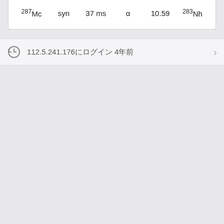| 287Mc | syn | 37 ms | α | 10.59 | 283Nh |
112.5.241.176にログイン 4年前